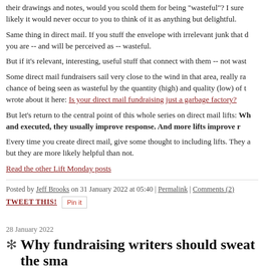their drawings and notes, would you scold them for being "wasteful"? I sure likely it would never occur to you to think of it as anything but delightful.
Same thing in direct mail. If you stuff the envelope with irrelevant junk that d you are -- and will be perceived as -- wasteful.
But if it's relevant, interesting, useful stuff that connect with them -- not wast
Some direct mail fundraisers sail very close to the wind in that area, really ra chance of being seen as wasteful by the quantity (high) and quality (low) of t wrote about it here: Is your direct mail fundraising just a garbage factory?
But let's return to the central point of this whole series on direct mail lifts: When lifts are well-conceived and executed, they usually improve response. And more lifts improve r
Every time you create direct mail, give some thought to including lifts. They a but they are more likely helpful than not.
Read the other Lift Monday posts
Posted by Jeff Brooks on 31 January 2022 at 05:40 | Permalink | Comments (2)
TWEET THIS! Pin it
28 January 2022
Why fundraising writers should sweat the sma
There was a discussion on Twitter about the word partner, used as a verb. A partner with us on this important project?"
Lisa Sargent was advising against it. I think any real writer (like Lisa) has a f partner as a verb, because it's abstract and jargony.